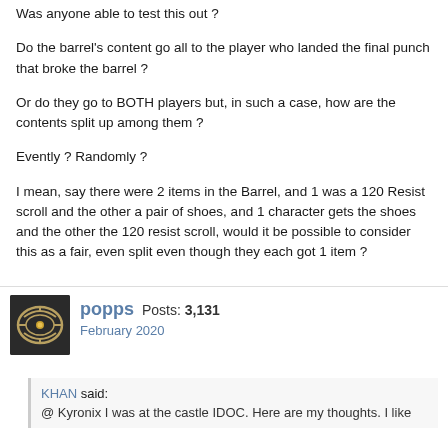Was anyone able to test this out ?
Do the barrel's content go all to the player who landed the final punch that broke the barrel ?
Or do they go to BOTH players but, in such a case, how are the contents split up among them ?
Evently ? Randomly ?
I mean, say there were 2 items in the Barrel, and 1 was a 120 Resist scroll and the other a pair of shoes, and 1 character gets the shoes and the other the 120 resist scroll, would it be possible to consider this as a fair, even split even though they each got 1 item ?
popps  Posts: 3,131
February 2020
KHAN said:
@ Kyronix I was at the castle IDOC. Here are my thoughts. I like